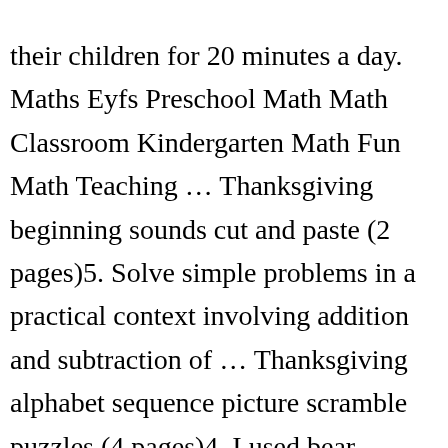their children for 20 minutes a day. Maths Eyfs Preschool Math Math Classroom Kindergarten Math Fun Math Teaching … Thanksgiving beginning sounds cut and paste (2 pages)5. Solve simple problems in a practical context involving addition and subtraction of … Thanksgiving alphabet sequence picture scramble puzzles (4 pages)4. I used bear counters, but the possibilities are endless. Give your child 3 objects and ask them to count. Understanding concepts like 1 less and 1 more in EYFS can be difficult for … One more and one less! I swear school just started! If they